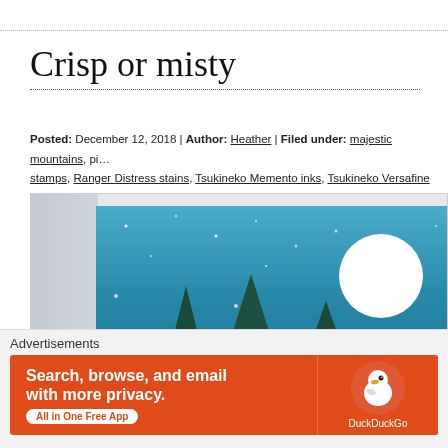Crisp or misty
Posted: December 12, 2018 | Author: Heather | Filed under: majestic mountains, pi… stamps, Ranger Distress stains, Tsukineko Memento inks, Tsukineko Versafine inks | 1…
[Figure (photo): A handmade greeting card showing a night winter scene with dark pine trees silhouetted against a blue sky with a large white full moon and white snow dots/stars, displayed on a light gray wood background.]
Advertisements
[Figure (screenshot): DuckDuckGo advertisement banner: orange/red background with text 'Search, browse, and email with more privacy. All in One Free App' and DuckDuckGo duck logo on the right side.]